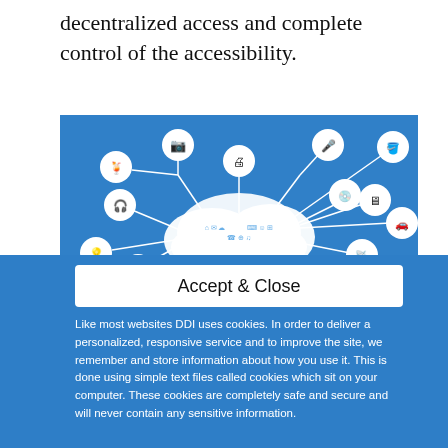decentralized access and complete control of the accessibility.
[Figure (illustration): IoT infographic showing a central cloud icon surrounded by connected device icons (camera, microphone, printer, headphones, blender, lamp, radio, phone, monitor, car, refrigerator, clock, etc.) connected by lines on a blue background.]
Accept & Close
Like most websites DDI uses cookies. In order to deliver a personalized, responsive service and to improve the site, we remember and store information about how you use it. This is done using simple text files called cookies which sit on your computer. These cookies are completely safe and secure and will never contain any sensitive information.